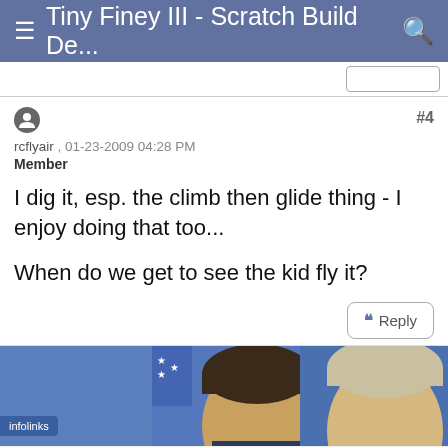Tiny Finey III - Scratch Build De...
rcflyair , 01-23-2009 04:28 PM
Member
#4
I dig it, esp. the climb then glide thing - I enjoy doing that too...

When do we get to see the kid fly it?
[Figure (screenshot): Reply button with quote icon]
[Figure (photo): Two cropped photos of people's faces against blue background with infolinks badge]
[Figure (screenshot): Amazon.com advertisement banner with Amazon logo, 'Online Shopping for Everyone' title, and blue arrow button]